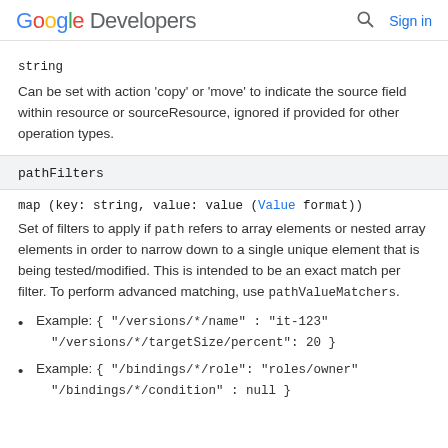Google Developers  Sign in
string
Can be set with action 'copy' or 'move' to indicate the source field within resource or sourceResource, ignored if provided for other operation types.
pathFilters
map (key: string, value: value (Value format))
Set of filters to apply if path refers to array elements or nested array elements in order to narrow down to a single unique element that is being tested/modified. This is intended to be an exact match per filter. To perform advanced matching, use pathValueMatchers.
Example: { "/versions/*/name" : "it-123" "/versions/*/targetSize/percent": 20 }
Example: { "/bindings/*/role": "roles/owner" "/bindings/*/condition" : null }